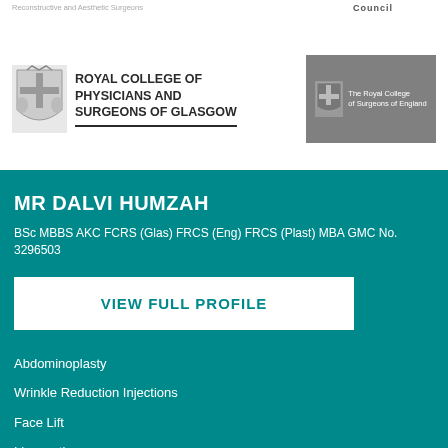Reconstructive and Aesthetic Surgeons
Council
[Figure (logo): Royal College of Physicians and Surgeons of Glasgow logo with crest and text]
[Figure (logo): The Royal College of Surgeons of England logo on grey background]
MR DALVI HUMZAH
BSc MBBS AKC FCRS (Glas) FRCS (Eng) FRCS (Plast) MBA GMC No. 3296503
VIEW FULL PROFILE
Abdominoplasty
Wrinkle Reduction Injections
Face Lift
Liposuction